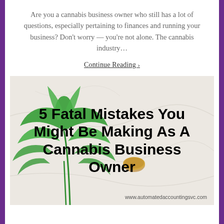Are you a cannabis business owner who still has a lot of questions, especially pertaining to finances and running your business? Don't worry — you're not alone. The cannabis industry…
Continue Reading ›
[Figure (illustration): Photo of a cannabis leaf on a marble background with bold text overlay reading '5 Fatal Mistakes You Might Be Making As A Cannabis Business Owner' and website URL www.automatedaccountingsvc.com]